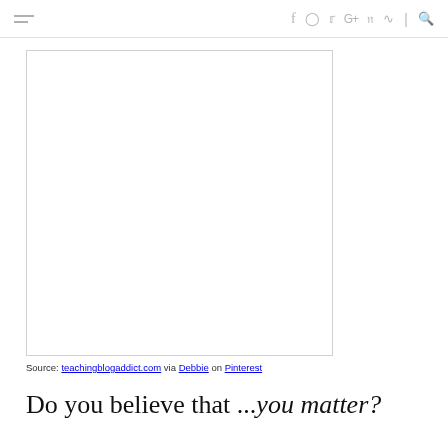≡  f  Instagram  Twitter  G+  Pinterest  RSS  |  Search
[Figure (other): White rectangular image placeholder with a thin border]
Source: teachingblogaddict.com via Debbie on Pinterest
Do you believe that ...you matter?